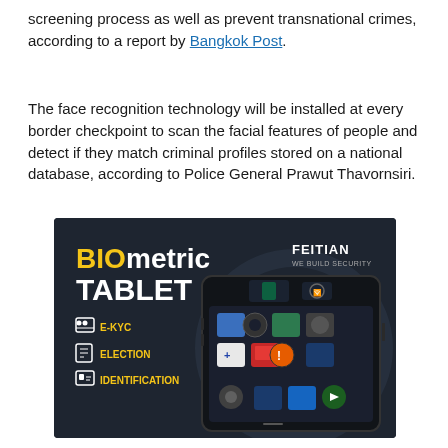screening process as well as prevent transnational crimes, according to a report by Bangkok Post.
The face recognition technology will be installed at every border checkpoint to scan the facial features of people and detect if they match criminal profiles stored on a national database, according to Police General Prawut Thavornsiri.
[Figure (photo): Advertisement image for FEITIAN BIOmetric Tablet showing a rugged Android tablet device with text: BIOmetric TABLET, E-KYC, ELECTION, IDENTIFICATION, and FEITIAN WE BUILD SECURITY branding on dark background.]